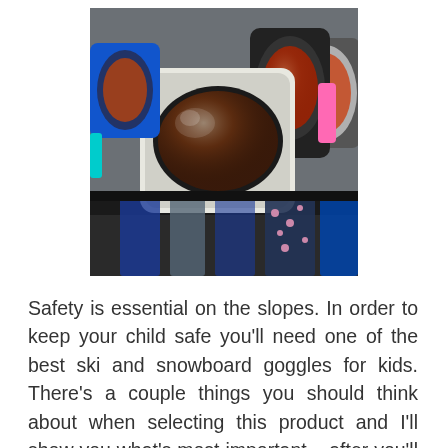[Figure (photo): A display rack of ski and snowboard goggles for kids, showing multiple colorful goggles with mirrored lenses arranged in a row. Colors include blue, white, black, pink/red, and patterned frames.]
Safety is essential on the slopes. In order to keep your child safe you'll need one of the best ski and snowboard goggles for kids. There's a couple things you should think about when selecting this product and I'll show you what's most important – after you'll see my top picks for boys … Read